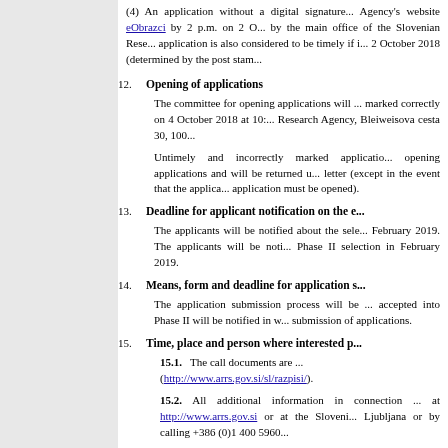(4) An application without a digital signature... Agency's website eObrazci by 2 p.m. on 2 O... by the main office of the Slovenian Rese... application is also considered to be timely if i... 2 October 2018 (determined by the post sta...
12. Opening of applications
The committee for opening applications will ... marked correctly on 4 October 2018 at 10:... Research Agency, Bleiweisova cesta 30, 100...
Untimely and incorrectly marked applicatio... opening applications and will be returned u... letter (except in the event that the applica... application must be opened).
13. Deadline for applicant notification on the e...
The applicants will be notified about the sele... February 2019. The applicants will be noti... Phase II selection in February 2019.
14. Means, form and deadline for application s...
The application submission process will be ... accepted into Phase II will be notified in w... submission of applications.
15. Time, place and person where interested p...
15.1. The call documents are ... (http://www.arrs.gov.si/sl/razpisi/).
15.2. All additional information in connection ... at http://www.arrs.gov.si or at the Sloveni... Ljubljana or by calling +386 (0)1 400 5960...